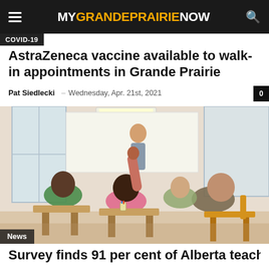MY GRANDE PRAIRIE NOW
COVID-19
AstraZeneca vaccine available to walk-in appointments in Grande Prairie
Pat Siedlecki  -  Wednesday, Apr. 21st, 2021
[Figure (photo): Children in a classroom, one child raising hand, teacher visible in background]
News
Survey finds 91 per cent of Alberta teachers